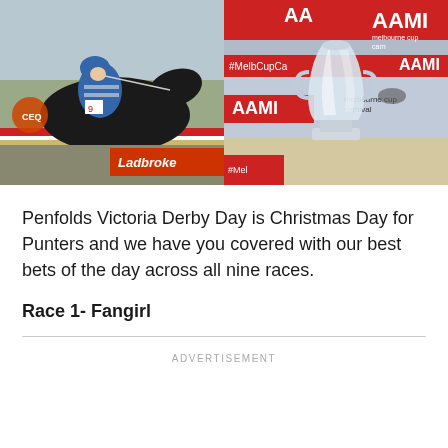[Figure (photo): Left photo: jockey on a dark horse during a horse race, with Ladbrokes advertising banner visible in background]
[Figure (photo): Right photo: Melbourne Cup trophy (crystal/glass cup) displayed on a table with AAMI and Melbourne Cup Carnival branding in the background, with hashtag #MelbCupCa visible]
Penfolds Victoria Derby Day is Christmas Day for Punters and we have you covered with our best bets of the day across all nine races.
Race 1- Fangirl
ADVERTISEMENT